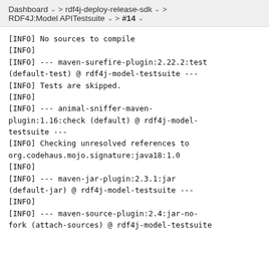Dashboard  ∨  >  rdf4j-deploy-release-sdk  ∨  >
RDF4J:Model APITestsuite  ∨  >  #14  ∨
[INFO] No sources to compile
[INFO]
[INFO] --- maven-surefire-plugin:2.22.2:test (default-test) @ rdf4j-model-testsuite ---
[INFO] Tests are skipped.
[INFO]
[INFO] --- animal-sniffer-maven-plugin:1.16:check (default) @ rdf4j-model-testsuite ---
[INFO] Checking unresolved references to org.codehaus.mojo.signature:java18:1.0
[INFO]
[INFO] --- maven-jar-plugin:2.3.1:jar (default-jar) @ rdf4j-model-testsuite ---
[INFO]
[INFO] --- maven-source-plugin:2.4:jar-no-fork (attach-sources) @ rdf4j-model-testsuite